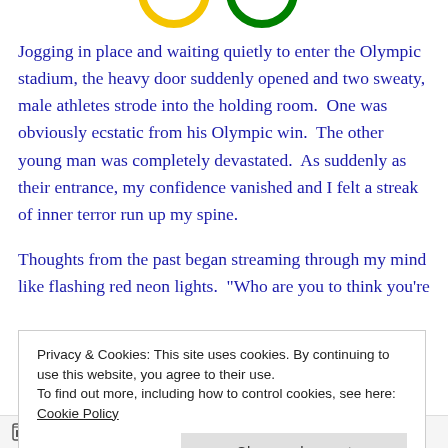[Figure (illustration): Partial view of Olympic rings logo (yellow and green rings visible) at top of page]
Jogging in place and waiting quietly to enter the Olympic stadium, the heavy door suddenly opened and two sweaty, male athletes strode into the holding room.  One was obviously ecstatic from his Olympic win.  The other young man was completely devastated.  As suddenly as their entrance, my confidence vanished and I felt a streak of inner terror run up my spine.
Thoughts from the past began streaming through my mind like flashing red neon lights.  "Who are you to think you're...
Privacy & Cookies: This site uses cookies. By continuing to use this website, you agree to their use.
To find out more, including how to control cookies, see here: Cookie Policy
Close and accept
Follow ...